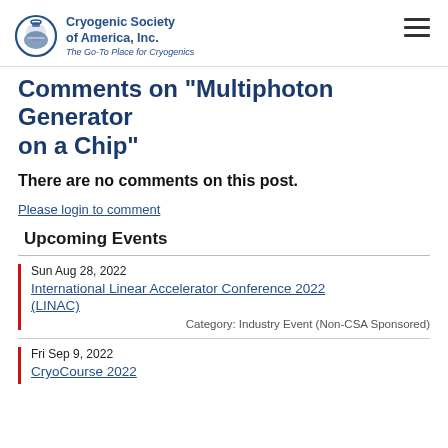Cryogenic Society of America, Inc. — The Go-To Place for Cryogenics
Comments on "Multiphoton Generator on a Chip"
There are no comments on this post.
Please login to comment
Upcoming Events
Sun Aug 28, 2022 — International Linear Accelerator Conference 2022 (LINAC) — Category: Industry Event (Non-CSA Sponsored)
Fri Sep 9, 2022 — CryoCourse 2022